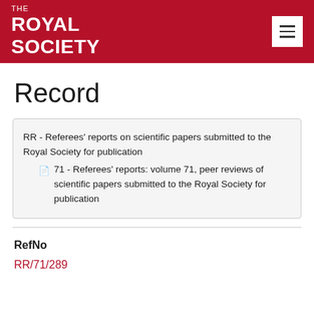THE ROYAL SOCIETY
Record
RR - Referees' reports on scientific papers submitted to the Royal Society for publication
71 - Referees' reports: volume 71, peer reviews of scientific papers submitted to the Royal Society for publication
RefNo
RR/71/289